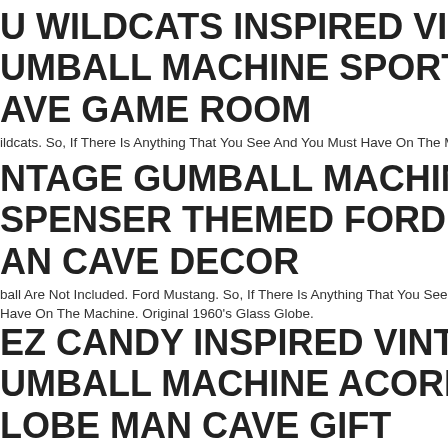U WILDCATS INSPIRED VINTAGE GUMBALL MACHINE SPORT GIFT MAN CAVE GAME ROOM
Wildcats. So, If There Is Anything That You See And You Must Have On The Mach...
VINTAGE GUMBALL MACHINE CANDY DISPENSER THEMED FORD MUSTANG MAN CAVE DECOR
ball Are Not Included. Ford Mustang. So, If There Is Anything That You See And You Must Have On The Machine. Original 1960's Glass Globe.
EZ CANDY INSPIRED VINTAGE GUMBALL MACHINE ACORN GLASS GLOBE MAN CAVE GIFT
t Be Different, A Decal Might Be Different, Or The Size Of The Globe Might Be.